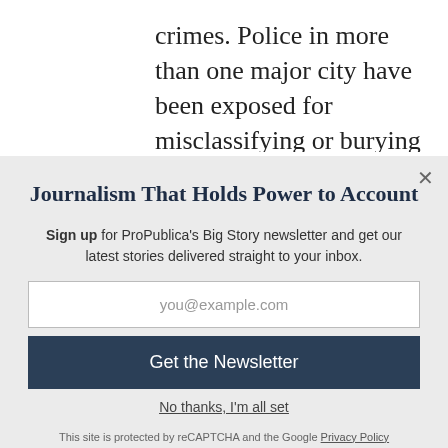crimes. Police in more than one major city have been exposed for misclassifying or burying reports of
Journalism That Holds Power to Account
Sign up for ProPublica's Big Story newsletter and get our latest stories delivered straight to your inbox.
you@example.com
Get the Newsletter
No thanks, I'm all set
This site is protected by reCAPTCHA and the Google Privacy Policy and Terms of Service apply.